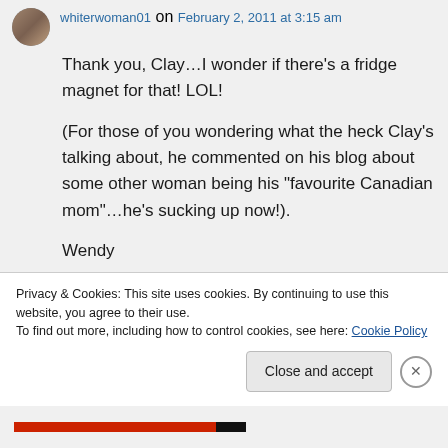whiterwoman01 on February 2, 2011 at 3:15 am
Thank you, Clay…I wonder if there's a fridge magnet for that! LOL!
(For those of you wondering what the heck Clay's talking about, he commented on his blog about some other woman being his "favourite Canadian mom"…he's sucking up now!).
Wendy
Privacy & Cookies: This site uses cookies. By continuing to use this website, you agree to their use.
To find out more, including how to control cookies, see here: Cookie Policy